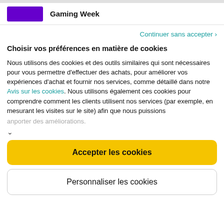Gaming Week
Continuer sans accepter ›
Choisir vos préférences en matière de cookies
Nous utilisons des cookies et des outils similaires qui sont nécessaires pour vous permettre d'effectuer des achats, pour améliorer vos expériences d'achat et fournir nos services, comme détaillé dans notre Avis sur les cookies. Nous utilisons également ces cookies pour comprendre comment les clients utilisent nos services (par exemple, en mesurant les visites sur le site) afin que nous puissions anporter des améliorations.
Accepter les cookies
Personnaliser les cookies